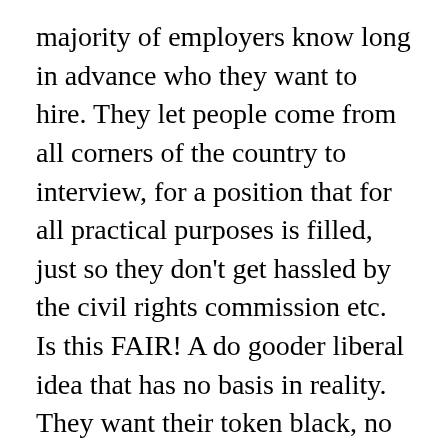majority of employers know long in advance who they want to hire. They let people come from all corners of the country to interview, for a position that for all practical purposes is filled, just so they don't get hassled by the civil rights commission etc. Is this FAIR! A do gooder liberal idea that has no basis in reality. They want their token black, no matter how un qualified, to show off their PC credentials. Whites get nothing, but BS.
Here's another of my favorites, disability. I can't tell you how many whites I've known/know who got, or are gravely ill, who get turned down for SSDI. People with